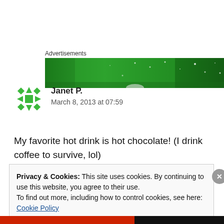Advertisements
[Figure (illustration): Green advertisement banner with dot pattern]
[Figure (illustration): User avatar — green geometric snowflake/star pattern icon]
Janet P.
March 8, 2013 at 07:59
My favorite hot drink is hot chocolate! (I drink coffee to survive, lol)
Privacy & Cookies: This site uses cookies. By continuing to use this website, you agree to their use.
To find out more, including how to control cookies, see here: Cookie Policy
Close and accept